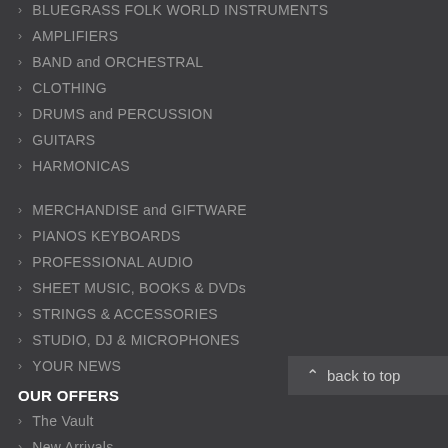> BLUEGRASS FOLK WORLD INSTRUMENTS
> AMPLIFIERS
> BAND and ORCHESTRAL
> CLOTHING
> DRUMS and PERCUSSION
> GUITARS
> HARMONICAS
> MERCHANDISE and GIFTWARE
> PIANOS KEYBOARDS
> PROFESSIONAL AUDIO
> SHEET MUSIC, BOOKS & DVDs
> STRINGS & ACCESSORIES
> STUDIO, DJ & MICROPHONES
> YOUR NEWS
OUR OFFERS
> The Vault
> New Arrivals
> Special Deals
CUSTOMER SERVICE